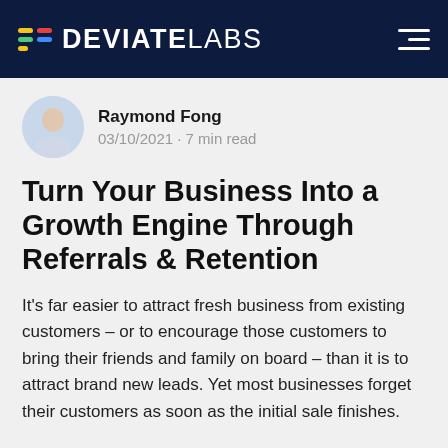DEVIATE LABS
Raymond Fong
03/10/2021 · 7 min read
Turn Your Business Into a Growth Engine Through Referrals & Retention
It's far easier to attract fresh business from existing customers – or to encourage those customers to bring their friends and family on board – than it is to attract brand new leads. Yet most businesses forget their customers as soon as the initial sale finishes.